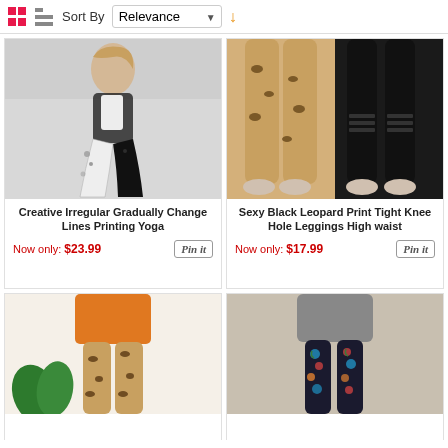Sort By Relevance
[Figure (photo): Woman in yoga pose wearing black and white abstract print leggings]
Creative Irregular Gradually Change Lines Printing Yoga
Now only: $23.99
[Figure (photo): Two pairs of legs showing leopard print and black ripped knee hole leggings]
Sexy Black Leopard Print Tight Knee Hole Leggings High waist
Now only: $17.99
[Figure (photo): Leopard print leggings with orange top]
[Figure (photo): Dark floral print leggings with grey sweater]